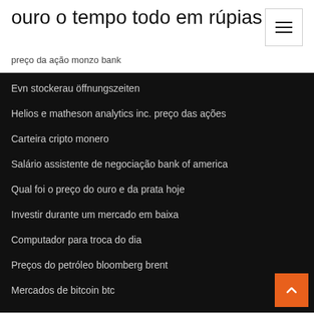ouro o tempo todo em rúpias
preço da ação monzo bank
Evn stockerau öffnungszeiten
Helios e matheson analytics inc. preço das ações
Carteira cripto monero
Salário assistente de negociação bank of america
Qual foi o preço do ouro e da prata hoje
Investir durante um mercado em baixa
Computador para troca do dia
Preços do petróleo bloomberg brent
Mercados de bitcoin btc